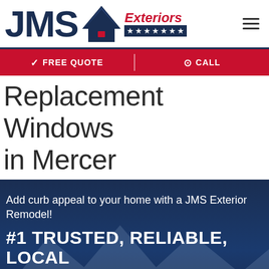[Figure (logo): JMS Exteriors logo with house/roof icon, red 'Exteriors' text, and navy star bar]
[Figure (other): Hamburger menu icon (three horizontal lines)]
✓ FREE QUOTE
⊙ CALL
Replacement Windows in Mercer
Add curb appeal to your home with a JMS Exterior Remodel!
#1 TRUSTED, RELIABLE, LOCAL REMODELER